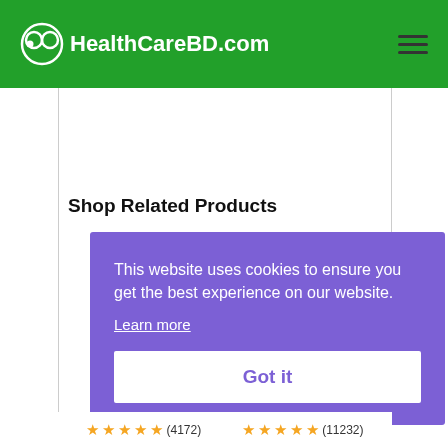HealthCareBD.com
Shop Related Products
This website uses cookies to ensure you get the best experience on our website.
Learn more
Got it
(4172)
(11232)